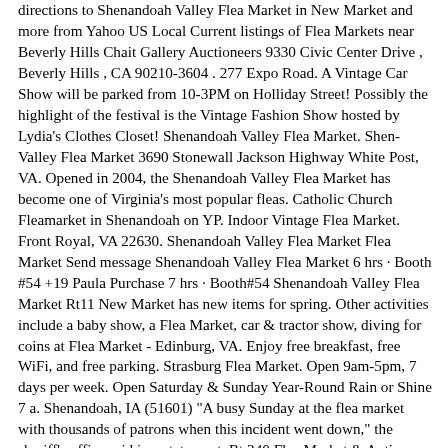directions to Shenandoah Valley Flea Market in New Market and more from Yahoo US Local Current listings of Flea Markets near Beverly Hills Chait Gallery Auctioneers 9330 Civic Center Drive , Beverly Hills , CA 90210-3604 . 277 Expo Road. A Vintage Car Show will be parked from 10-3PM on Holliday Street! Possibly the highlight of the festival is the Vintage Fashion Show hosted by Lydia's Clothes Closet! Shenandoah Valley Flea Market. Shen-Valley Flea Market 3690 Stonewall Jackson Highway White Post, VA. Opened in 2004, the Shenandoah Valley Flea Market has become one of Virginia's most popular fleas. Catholic Church Fleamarket in Shenandoah on YP. Indoor Vintage Flea Market. Front Royal, VA 22630. Shenandoah Valley Flea Market Flea Market Send message Shenandoah Valley Flea Market 6 hrs · Booth #54 +19 Paula Purchase 7 hrs · Booth#54 Shenandoah Valley Flea Market Rt11 New Market has new items for spring. Other activities include a baby show, a Flea Market, car & tractor show, diving for coins at Flea Market - Edinburg, VA. Enjoy free breakfast, free WiFi, and free parking. Strasburg Flea Market. Open 9am-5pm, 7 days per week. Open Saturday & Sunday Year-Round Rain or Shine 7 a. Shenandoah, IA (51601) "A busy Sunday at the flea market with thousands of patrons when this incident went down," the sheriff's office said in a statement. Rt 340 Flea Market & Antique 733 4th St , Shenandoah, VA 22849 Shenandoah Valley Flea Market 3549 Old Valley Pike , New Market, VA 22844 New Market Flea Market 9202 N Congress St , New Market, VA 22844 Columbus Farmer's Market & Flea Market 2919 Route 206